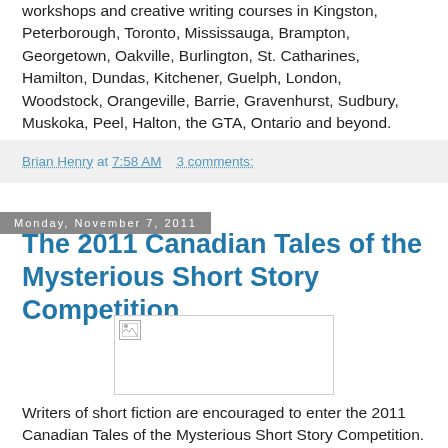workshops and creative writing courses in Kingston, Peterborough, Toronto, Mississauga, Brampton, Georgetown, Oakville, Burlington, St. Catharines, Hamilton, Dundas, Kitchener, Guelph, London, Woodstock, Orangeville, Barrie, Gravenhurst, Sudbury, Muskoka, Peel, Halton, the GTA, Ontario and beyond.
Brian Henry at 7:58 AM    3 comments:
Monday, November 7, 2011
The 2011 Canadian Tales of the Mysterious Short Story Competition
[Figure (photo): Image placeholder with broken image icon in top-left corner, bordered rectangle]
Writers of short fiction are encouraged to enter the 2011 Canadian Tales of the Mysterious Short Story Competition. To be considered, a story must have two things: First, it must